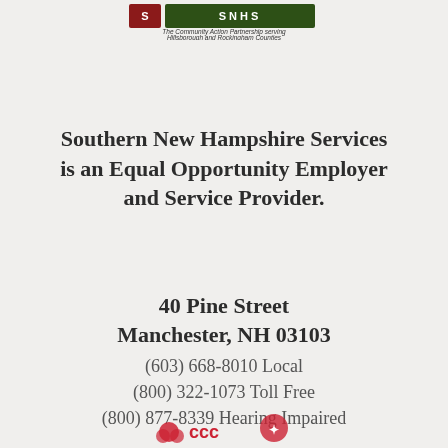[Figure (logo): SNHS logo with red and green blocks and text: The Community Action Partnership serving Hillsborough and Rockingham Counties]
Southern New Hampshire Services is an Equal Opportunity Employer and Service Provider.
40 Pine Street
Manchester, NH 03103
(603) 668-8010 Local
(800) 322-1073 Toll Free
(800) 877-8339 Hearing Impaired
[Figure (infographic): Three social media icon buttons: LinkedIn, Facebook, Instagram]
[Figure (logo): Bottom logos partially visible]